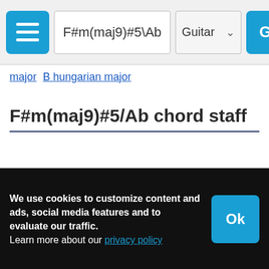F#m(maj9)#5\Ab | Guitar | Go
major B hungarian major
F#m(maj9)#5/Ab chord staff
We use cookies to customize content and ads, social media features and to evaluate our traffic.
Learn more about our privacy policy